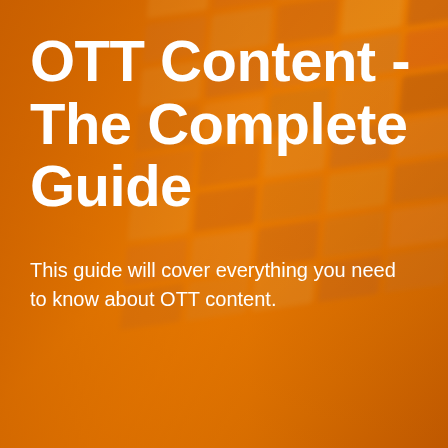[Figure (illustration): Orange gradient background with a blurred grid of video thumbnails arranged in a perspective grid on the right side, creating a media/OTT visual motif.]
OTT Content - The Complete Guide
This guide will cover everything you need to know about OTT content.